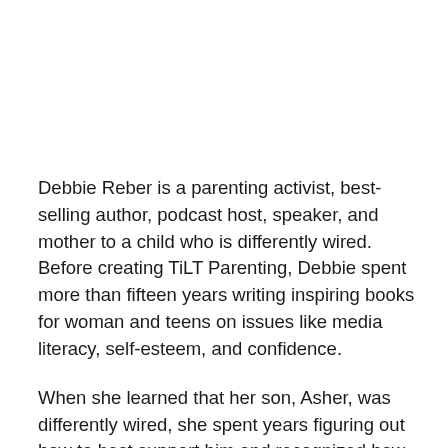Debbie Reber is a parenting activist, best-selling author, podcast host, speaker, and mother to a child who is differently wired. Before creating TiLT Parenting, Debbie spent more than fifteen years writing inspiring books for woman and teens on issues like media literacy, self-esteem, and confidence.
When she learned that her son, Asher, was differently wired, she spent years figuring out how to best support him and recognized how incredibly difficult it is to find solid, reliable, useful, and optimistic, information for parents like her.
In 2016 she launched TiLT Parenting as a podcast and